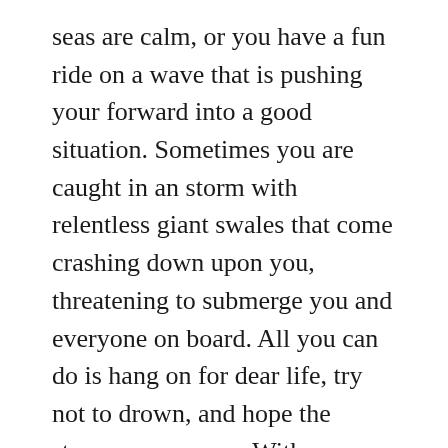seas are calm, or you have a fun ride on a wave that is pushing your forward into a good situation. Sometimes you are caught in an storm with relentless giant swales that come crashing down upon you, threatening to submerge you and everyone on board. All you can do is hang on for dear life, try not to drown, and hope the storm passes soon. With practice, maybe you learn how to navigate the swells better.
You also hope that the rogue waves, the monsters that come out of nowhere, catch you completely off guard and are the most dangerous and toughest to negotiate, rarely occur.